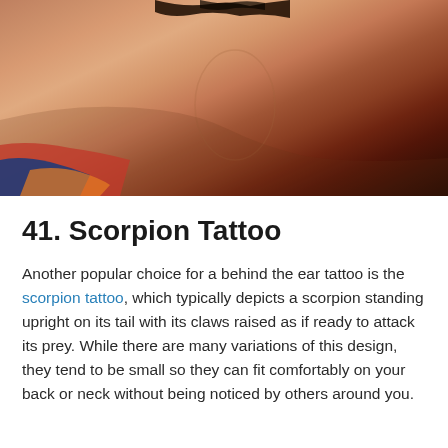[Figure (photo): Close-up photo of the back of a person's neck/ear area showing skin. Person appears to be wearing colorful clothing visible at bottom left.]
41. Scorpion Tattoo
Another popular choice for a behind the ear tattoo is the scorpion tattoo, which typically depicts a scorpion standing upright on its tail with its claws raised as if ready to attack its prey. While there are many variations of this design, they tend to be small so they can fit comfortably on your back or neck without being noticed by others around you.